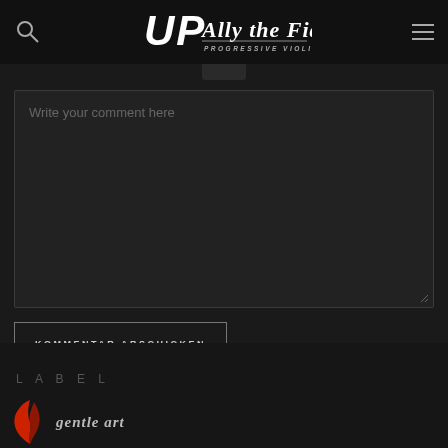UP Ally the Fiddle — Progressive Violin Metal
Write your comment here
KOMMENTAR ABSCHICKEN
LABEL
[Figure (logo): gentle art record label logo — red stylized feather/leaf icon with 'gentle art' text in italic]